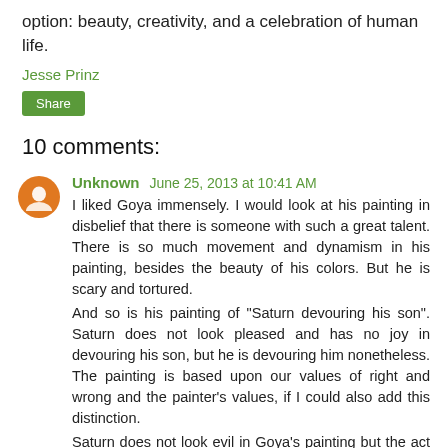option: beauty, creativity, and a celebration of human life.
Jesse Prinz
[Figure (other): Share button (green rounded rectangle)]
10 comments:
Unknown June 25, 2013 at 10:41 AM
I liked Goya immensely. I would look at his painting in disbelief that there is someone with such a great talent. There is so much movement and dynamism in his painting, besides the beauty of his colors. But he is scary and tortured.
And so is his painting of "Saturn devouring his son". Saturn does not look pleased and has no joy in devouring his son, but he is devouring him nonetheless. The painting is based upon our values of right and wrong and the painter's values, if I could also add this distinction.
Saturn does not look evil in Goya's painting but the act he is doing is as evil as of Satan devouring ...people, who can not understand why it is not normal not to devour them.